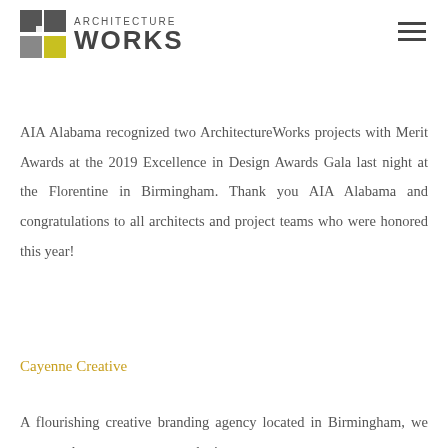ARCHITECTURE WORKS
AIA Alabama recognized two ArchitectureWorks projects with Merit Awards at the 2019 Excellence in Design Awards Gala last night at the Florentine in Birmingham. Thank you AIA Alabama and congratulations to all architects and project teams who were honored this year!
Cayenne Creative
A flourishing creative branding agency located in Birmingham...